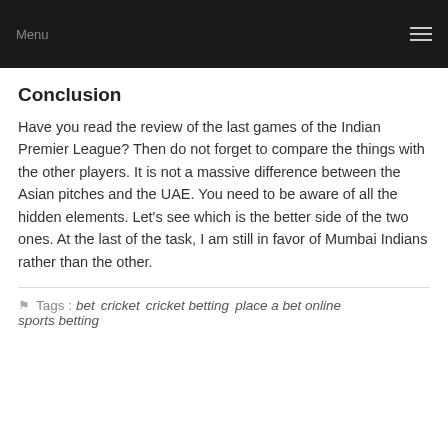Menu
Conclusion
Have you read the review of the last games of the Indian Premier League? Then do not forget to compare the things with the other players. It is not a massive difference between the Asian pitches and the UAE. You need to be aware of all the hidden elements. Let's see which is the better side of the two ones. At the last of the task, I am still in favor of Mumbai Indians rather than the other.
Tags : bet  cricket  cricket betting  place a bet online  sports betting